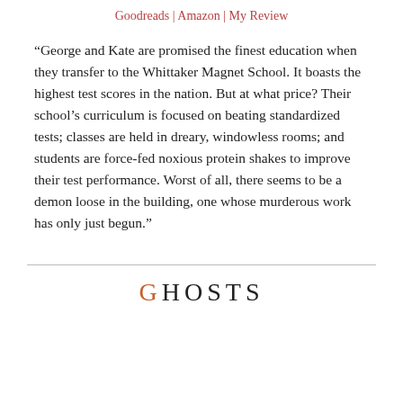Goodreads | Amazon | My Review
“George and Kate are promised the finest education when they transfer to the Whittaker Magnet School. It boasts the highest test scores in the nation. But at what price? Their school’s curriculum is focused on beating standardized tests; classes are held in dreary, windowless rooms; and students are force-fed noxious protein shakes to improve their test performance. Worst of all, there seems to be a demon loose in the building, one whose murderous work has only just begun.”
GHOSTS